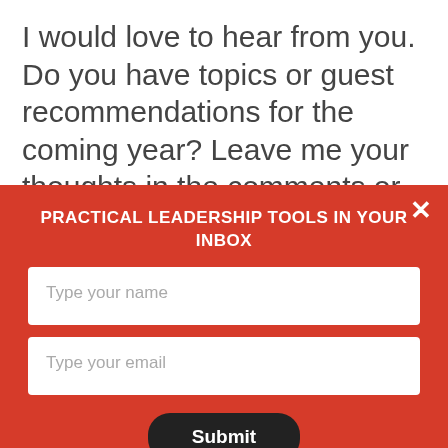I would love to hear from you. Do you have topics or guest recommendations for the coming year? Leave me your thoughts in the comments or drop me a note at
PRACTICAL LEADERSHIP TOOLS IN YOUR INBOX
Type your name
Type your email
Submit